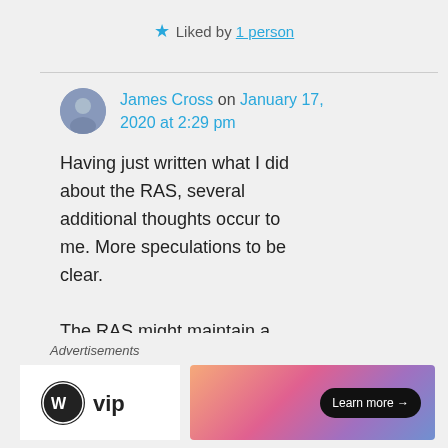★ Liked by 1 person
James Cross on January 17, 2020 at 2:29 pm
Having just written what I did about the RAS, several additional thoughts occur to me. More speculations to be clear.

The RAS might maintain a
Advertisements
[Figure (logo): WordPress VIP logo]
[Figure (photo): Advertisement banner with gradient pink/purple background and Learn more button]